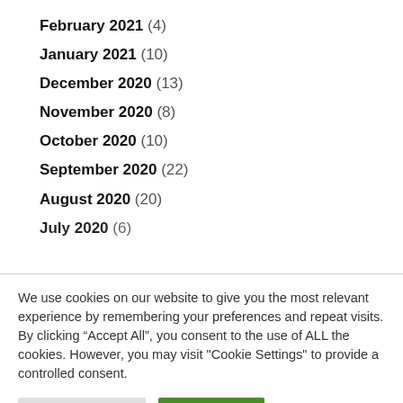February 2021 (4)
January 2021 (10)
December 2020 (13)
November 2020 (8)
October 2020 (10)
September 2020 (22)
August 2020 (20)
July 2020 (6)
We use cookies on our website to give you the most relevant experience by remembering your preferences and repeat visits. By clicking “Accept All”, you consent to the use of ALL the cookies. However, you may visit "Cookie Settings" to provide a controlled consent.
Cookie Settings | Accept All